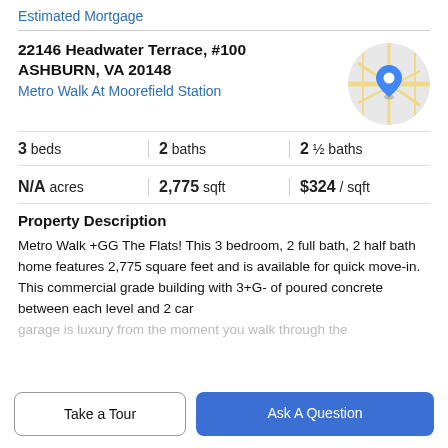Estimated Mortgage
22146 Headwater Terrace, #100
ASHBURN, VA 20148
Metro Walk At Moorefield Station
[Figure (map): Circular map thumbnail showing street map with blue location pin marker]
3 beds | 2 baths | 2 ½ baths
N/A acres | 2,775 sqft | $324 / sqft
Property Description
Metro Walk +GG The Flats! This 3 bedroom, 2 full bath, 2 half bath home features 2,775 square feet and is available for quick move-in. This commercial grade building with 3+G- of poured concrete between each level and 2 car garage is luxury from the moment you walk through the
Take a Tour
Ask A Question